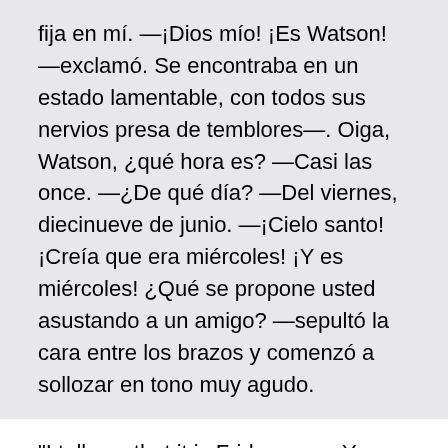fija en mí. —¡Dios mío! ¡Es Watson! —exclamó. Se encontraba en un estado lamentable, con todos sus nervios presa de temblores—. Oiga, Watson, ¿qué hora es? —Casi las once. —¿De qué día? —Del viernes, diecinueve de junio. —¡Cielo santo! ¡Creía que era miércoles! ¡Y es miércoles! ¿Qué se propone usted asustando a un amigo? —sepultó la cara entre los brazos y comenzó a sollozar en tono muy agudo.
"I tell you that it is Friday, man. Your wife has been waiting this two days for you. You should be ashamed of yourself!" "So I am. But you've got mixed, Watson, for I have only been here a few hours, three pipes, four pipes -- I forget how many. But I'll go home with you. I wouldn't frighten Kate -- poor little Kate. Give me your hand! Have you a cab?" "Yes, I have one.